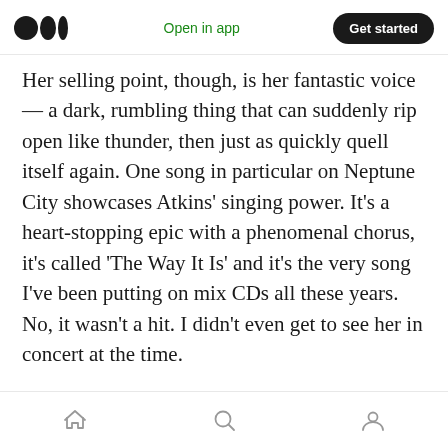Medium logo | Open in app | Get started
Her selling point, though, is her fantastic voice — a dark, rumbling thing that can suddenly rip open like thunder, then just as quickly quell itself again. One song in particular on Neptune City showcases Atkins' singing power. It's a heart-stopping epic with a phenomenal chorus, it's called 'The Way It Is' and it's the very song I've been putting on mix CDs all these years. No, it wasn't a hit. I didn't even get to see her in concert at the time.
Funnily enough, at that now-legendary (i.e. I was there and you weren't) Brooklyn show Atkins
Home | Search | Profile